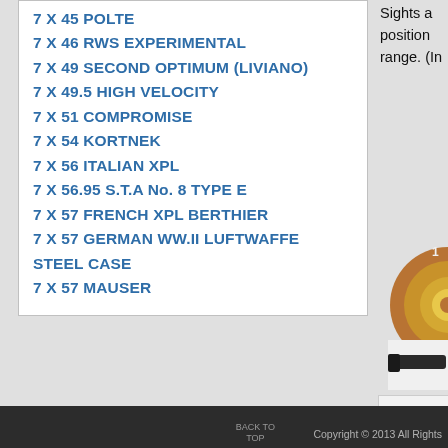7 X 45 POLTE
7 X 46 RWS EXPERIMENTAL
7 X 49 SECOND OPTIMUM (LIVIANO)
7 X 49.5 HIGH VELOCITY
7 X 51 COMPROMISE
7 X 54 KORTNEK
7 X 56 ITALIAN XPL
7 X 56.95 S.T.A No. 8 TYPE E
7 X 57 FRENCH XPL BERTHIER
7 X 57 GERMAN WW.II LUFTWAFFE STEEL CASE
7 X 57 MAUSER
Sights a position range. (In
[Figure (photo): Circular cartridge base/primer view showing a copper-colored bullet base with primer, with markings '1 1' at top and '8 8' at bottom]
[Figure (photo): Partial view of a dark-colored gun component/barrel]
BACK TO TOP   Copyright © 2013 All Rights